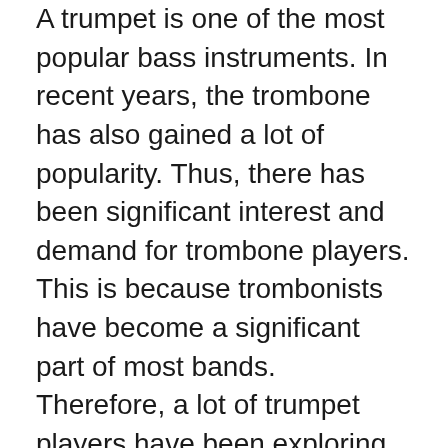A trumpet is one of the most popular bass instruments. In recent years, the trombone has also gained a lot of popularity. Thus, there has been significant interest and demand for trombone players. This is because trombonists have become a significant part of most bands. Therefore, a lot of trumpet players have been exploring the possibility of playing the trombone.
In fact, the ability to double on brass instruments has become a craze among brass players. For this reason, one of the questions on the minds of most trumpeters is, “Can trumpet players play the trombone?”. After much research and